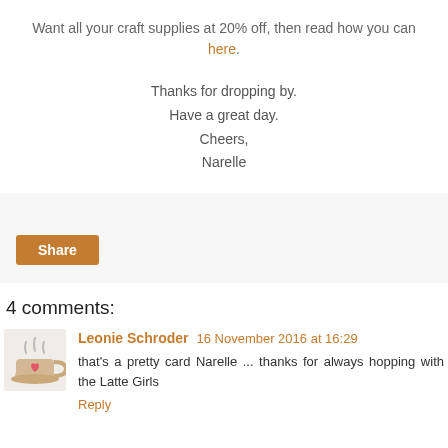Want all your craft supplies at 20% off, then read how you can here.
Thanks for dropping by.
Have a great day.
Cheers,
Narelle
[Figure (other): Share button widget area with a Share button in orange/brown color]
4 comments:
[Figure (illustration): Avatar image of a teacup with steam and a heart]
Leonie Schroder 16 November 2016 at 16:29
that's a pretty card Narelle ... thanks for always hopping with the Latte Girls
Reply